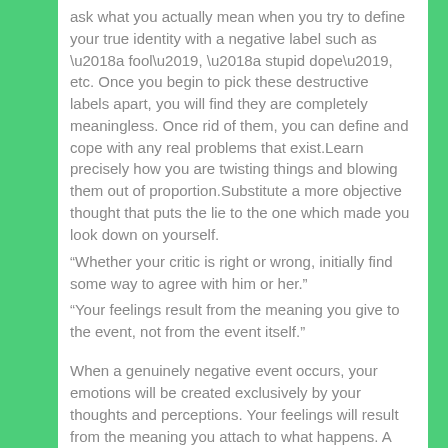ask what you actually mean when you try to define your true identity with a negative label such as ‘a fool’, ‘a stupid dope’, etc. Once you begin to pick these destructive labels apart, you will find they are completely meaningless. Once rid of them, you can define and cope with any real problems that exist.Learn precisely how you are twisting things and blowing them out of proportion.Substitute a more objective thought that puts the lie to the one which made you look down on yourself.
“Whether your critic is right or wrong, initially find some way to agree with him or her.”
“Your feelings result from the meaning you give to the event, not from the event itself.”
When a genuinely negative event occurs, your emotions will be created exclusively by your thoughts and perceptions. Your feelings will result from the meaning you attach to what happens. A substantial portion of your suffering will be due to